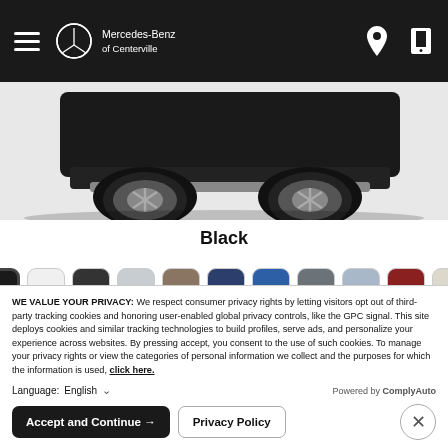Mercedes-Benz of Centerville
[Figure (photo): Bottom portion of a black Mercedes-Benz GLE SUV showing wheels and undercarriage on white background]
Black
[Figure (other): Row of 11 color swatches: black (selected), white, dark gray, light gray, tan/brown, dark navy, blue, medium gray, light blue, red, cream/beige]
GLE Gallery
WE VALUE YOUR PRIVACY: We respect consumer privacy rights by letting visitors opt out of third-party tracking cookies and honoring user-enabled global privacy controls, like the GPC signal. This site deploys cookies and similar tracking technologies to build profiles, serve ads, and personalize your experience across websites. By pressing accept, you consent to the use of such cookies. To manage your privacy rights or view the categories of personal information we collect and the purposes for which the information is used, click here.
Language: English
Powered by ComplyAuto
Accept and Continue →
Privacy Policy